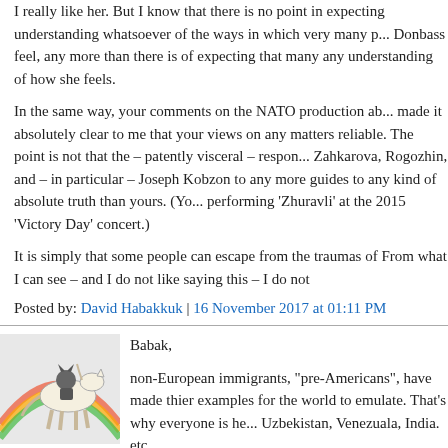I really like her. But I know that there is no point in expecting understanding whatsoever of the ways in which very many p... Donbass feel, any more than there is of expecting that many... any understanding of how she feels.
In the same way, your comments on the NATO production ab... made it absolutely clear to me that your views on any matters... reliable. The point is not that the – patently visceral – respon... Zahkarova, Rogozhin, and – in particular – Joseph Kobzon to... any more guides to any kind of absolute truth than yours. (Yo... performing 'Zhuravli' at the 2015 'Victory Day' concert.)
It is simply that some people can escape from the traumas of... From what I can see – and I do not like saying this – I do not...
Posted by: David Habakkuk | 16 November 2017 at 01:11 PM
[Figure (illustration): Avatar image of a cartoon character riding a horse over a rainbow]
Babak,
non-European immigrants, "pre-Americans", have made thier... examples for the world to emulate. That's why everyone is he... Uzbekistan, Venezuala, India. etc.
Posted by: Fred | 16 November 2017 at 02:16 PM